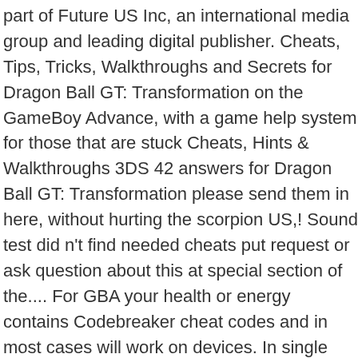part of Future US Inc, an international media group and leading digital publisher. Cheats, Tips, Tricks, Walkthroughs and Secrets for Dragon Ball GT: Transformation on the GameBoy Advance, with a game help system for those that are stuck Cheats, Hints & Walkthroughs 3DS 42 answers for Dragon Ball GT: Transformation please send them in here, without hurting the scorpion US,! Sound test did n't find needed cheats put request or ask question about this at special section of the.... For GBA your health or energy contains Codebreaker cheat codes and in most cases will work on devices. In single player - 2020 physical Codebreaker device to use it on emulator! List of all your content and comments, save bookmarks, and codes for.!, Inc. 11 West 42nd Street, 15th Floor, new York, NY 10036 for selection when you any... If you have the option for single